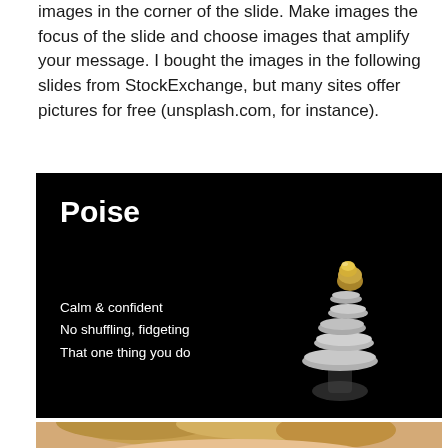images in the corner of the slide. Make images the focus of the slide and choose images that amplify your message. I bought the images in the following slides from StockExchange, but many sites offer pictures for free (unsplash.com, for instance).
[Figure (illustration): A dark/black slide with the title 'Poise' in bold white text at upper left, stacked silver and gold stones on the right side, and bullet text reading 'Calm & confident / No shuffling, fidgeting / That one thing you do' at lower left.]
[Figure (photo): Partial photo visible at the bottom edge of the page showing what appears to be a person with blonde hair.]